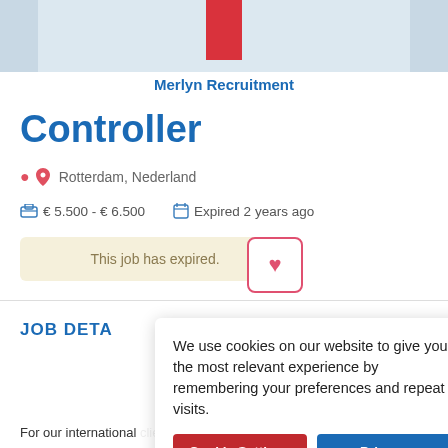[Figure (photo): Top banner image strip with a red vertical bar in the center]
Merlyn Recruitment
Controller
Rotterdam, Nederland
€ 5.500 - € 6.500   Expired 2 years ago
This job has expired.
We use cookies on our website to give you the most relevant experience by remembering your preferences and repeat visits.
JOB DETA
For our international client (solar industry), we are looking for a